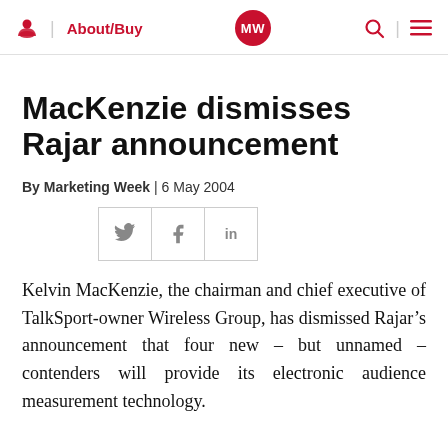About/Buy | MW | Search | Menu
MacKenzie dismisses Rajar announcement
By Marketing Week | 6 May 2004
Kelvin MacKenzie, the chairman and chief executive of TalkSport-owner Wireless Group, has dismissed Rajar's announcement that four new – but unnamed – contenders will provide its electronic audience measurement technology.